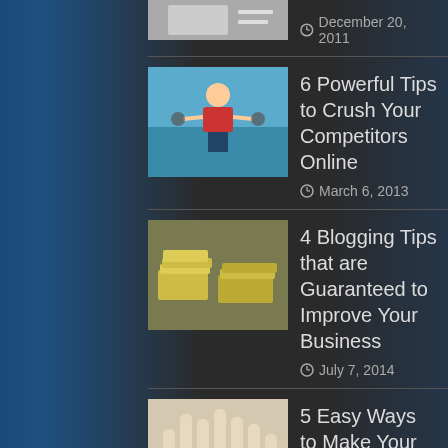December 20, 2011
6 Powerful Tips to Crush Your Competitors Online
March 6, 2013
4 Blogging Tips that are Guaranteed to Improve Your Business
July 7, 2014
5 Easy Ways to Make Your Blog Images Look Better
December 23, 2010
RECENT POSTS
5 Marketing Fails and What You Can Learn from Them
August 10, 2017
How to Create a Fail-Proof Social Media Strategy